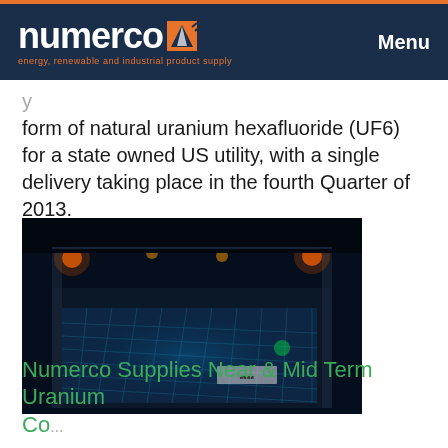numerco — energy, renewable and industrial product supply | Menu
form of natural uranium hexafluoride (UF6) for a state owned US utility, with a single delivery taking place in the fourth Quarter of 2013.
[Figure (photo): Aerial night view of an industrial nuclear/uranium storage facility with blue lighting illuminating rows of storage containers or equipment in a large warehouse-like building.]
Numerco Supplies Near & Mid Term Uranium Co...